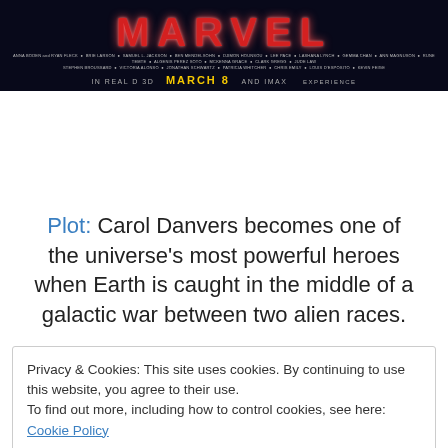[Figure (photo): Captain Marvel movie poster showing MARVEL title text in red with production credits and release date 'IN REAL D 3D MARCH 8 AND IMAX' on dark background]
Plot: Carol Danvers becomes one of the universe's most powerful heroes when Earth is caught in the middle of a galactic war between two alien races.
Privacy & Cookies: This site uses cookies. By continuing to use this website, you agree to their use.
To find out more, including how to control cookies, see here: Cookie Policy
Close and accept
Wonder Woman, which did great despite the internet trolls